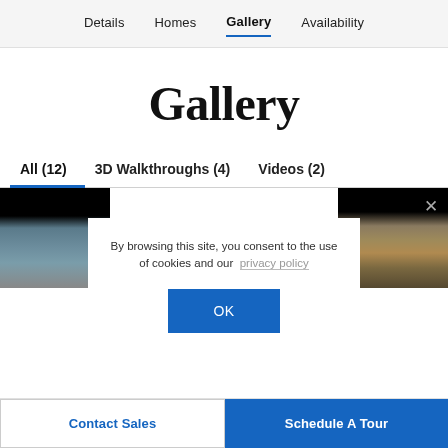Details  Homes  Gallery  Availability
Gallery
All (12)  3D Walkthroughs (4)  Videos (2)
[Figure (photo): Aerial/landscape photo thumbnails on left and right edges, partially visible]
By browsing this site, you consent to the use of cookies and our privacy policy
OK
Contact Sales  Schedule A Tour